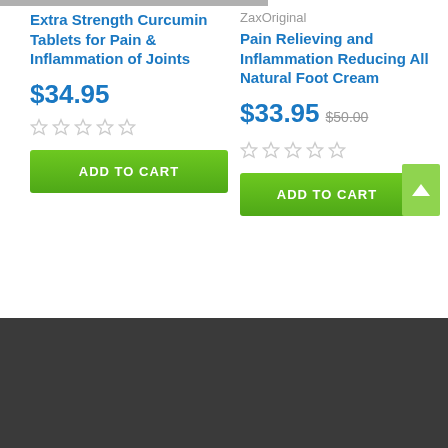Extra Strength Curcumin Tablets for Pain & Inflammation of Joints
$34.95
[Figure (other): 5 empty star rating icons (grey)]
ADD TO CART
ZaxOriginal
Pain Relieving and Inflammation Reducing All Natural Foot Cream
$33.95 $50.00
[Figure (other): 5 empty star rating icons (grey)]
ADD TO CART